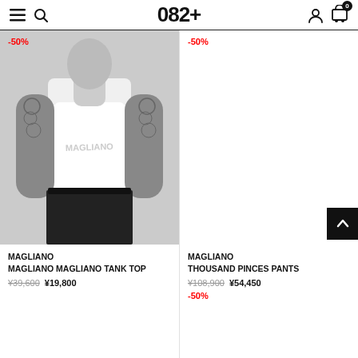082+
[Figure (photo): Person wearing a white Magliano tank top with tattoos on arms, black pants and belt, grey background]
MAGLIANO
MAGLIANO MAGLIANO TANK TOP
¥39,600  ¥19,800
[Figure (photo): Product image area for Thousand Pinces Pants — empty/white in this view]
MAGLIANO
THOUSAND PINCES PANTS
¥108,900  ¥54,450